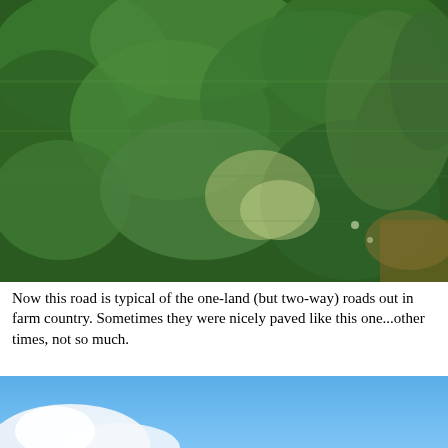[Figure (photo): A blurry close-up photo of dense green roadside vegetation including leaves, ferns, and grasses, taken from a moving vehicle along a narrow rural road.]
Now this road is typical of the one-land (but two-way) roads out in farm country. Sometimes they were nicely paved like this one...other times, not so much.
[Figure (photo): Partial photo showing a blue sky with white clouds, bottom portion of a second photograph visible at the bottom of the page.]